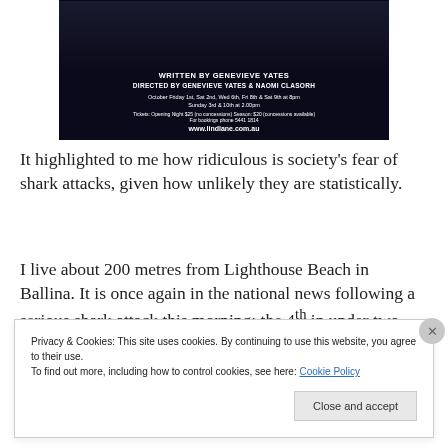[Figure (illustration): Dark theatrical advertisement image with text: Written by Genevieve Yates, Directed by Genevieve Yates & Naomi Clasorh, performance dates, tickets info, www.lindlane.com.au]
It highlighted to me how ridiculous is society's fear of shark attacks, given how unlikely they are statistically.
I live about 200 metres from Lighthouse Beach in Ballina. It is once again in the national news following a serious shark attack this morning: the 4th in under two years
Privacy & Cookies: This site uses cookies. By continuing to use this website, you agree to their use.
To find out more, including how to control cookies, see here: Cookie Policy